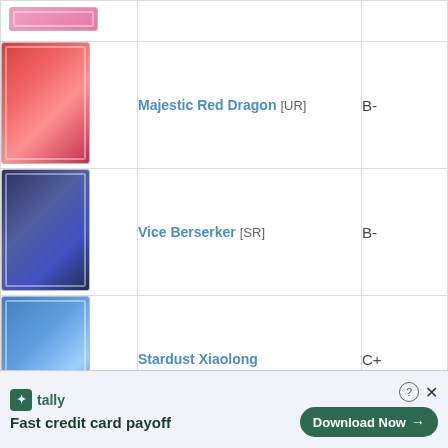| Card Image | Card Name | Grade |
| --- | --- | --- |
| [image: pink card] | Majestic Red Dragon [UR] | B- |
| [image: vice berserker card] | Vice Berserker [SR] | B- |
| [image: stardust xiaolong card] | Stardust Xiaolong | C+ |
| [image: majestic dragon card] | Majestic Dragon [SR] | C+ |
| [image: gadget arms card] | Gadget Arms [SR] | C+ |
Fast credit card payoff